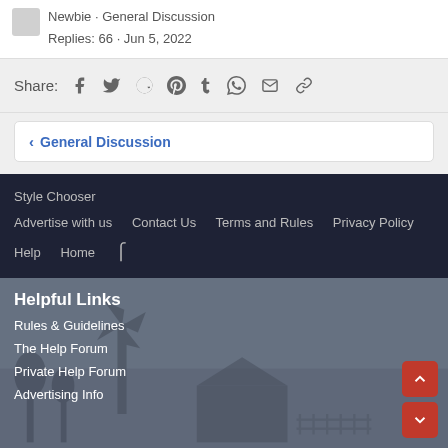Newbie · General Discussion
Replies: 66 · Jun 5, 2022
Share: [facebook] [twitter] [reddit] [pinterest] [tumblr] [whatsapp] [mail] [link]
< General Discussion
Style Chooser  Advertise with us  Contact Us  Terms and Rules  Privacy Policy  Help  Home  [rss]
Helpful Links
Rules & Guidelines
The Help Forum
Private Help Forum
Advertising Info